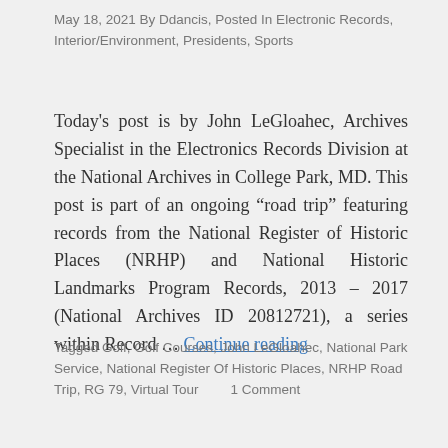May 18, 2021 By Ddancis, Posted In Electronic Records, Interior/Environment, Presidents, Sports
Today's post is by John LeGloahec, Archives Specialist in the Electronics Records Division at the National Archives in College Park, MD. This post is part of an ongoing “road trip” featuring records from the National Register of Historic Places (NRHP) and National Historic Landmarks Program Records, 2013 – 2017 (National Archives ID 20812721), a series within Record … Continue reading
Tagged Golf, Golf Courses, John LeGloahec, National Park Service, National Register Of Historic Places, NRHP Road Trip, RG 79, Virtual Tour       1 Comment